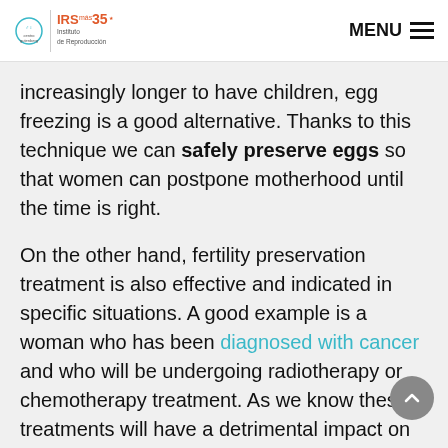Centro Gutenberg | IRS Instituto de Reproducción | MENU
increasingly longer to have children, egg freezing is a good alternative. Thanks to this technique we can safely preserve eggs so that women can postpone motherhood until the time is right.
On the other hand, fertility preservation treatment is also effective and indicated in specific situations. A good example is a woman who has been diagnosed with cancer and who will be undergoing radiotherapy or chemotherapy treatment. As we know these treatments will have a detrimental impact on the quantity and quality of eggs, vitrification can help patients preserve their fertility before